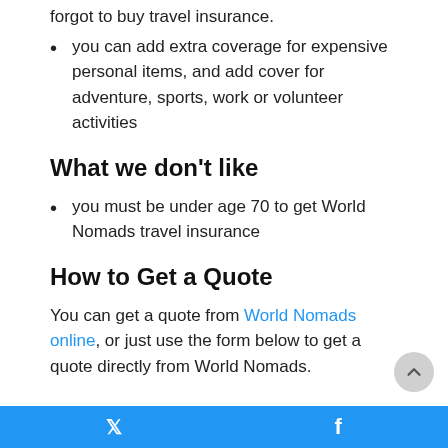forgot to buy travel insurance.
you can add extra coverage for expensive personal items, and add cover for adventure, sports, work or volunteer activities
What we don’t like
you must be under age 70 to get World Nomads travel insurance
How to Get a Quote
You can get a quote from World Nomads online, or just use the form below to get a quote directly from World Nomads.
Twitter | Facebook